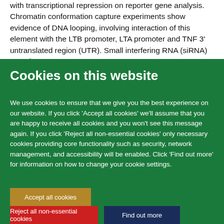with transcriptional repression on reporter gene analysis. Chromatin conformation capture experiments show evidence of DNA looping, involving interaction of this element with the LTB promoter, LTA promoter and TNF 3' untranslated region (UTR). Small interfering RNA (siRNA) experiments
Cookies on this website
We use cookies to ensure that we give you the best experience on our website. If you click 'Accept all cookies' we'll assume that you are happy to receive all cookies and you won't see this message again. If you click 'Reject all non-essential cookies' only necessary cookies providing core functionality such as security, network management, and accessibility will be enabled. Click 'Find out more' for information on how to change your cookie settings.
Accept all cookies
Reject all non-essential cookies
Find out more